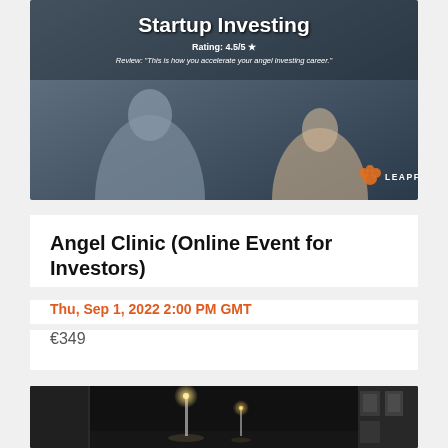[Figure (photo): Leapfunder Startup Investing banner with two people meeting, rating 4.5/5, review quote. Orange Leapfunder logo bottom right.]
Angel Clinic (Online Event for Investors)
Thu, Sep 1, 2022 2:00 PM GMT
€349
[Figure (photo): Black and white night alley street scene with lamp posts]